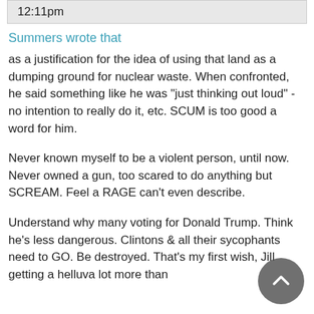12:11pm
Summers wrote that
as a justification for the idea of using that land as a dumping ground for nuclear waste. When confronted, he said something like he was "just thinking out loud" -no intention to really do it, etc. SCUM is too good a word for him.
Never known myself to be a violent person, until now. Never owned a gun, too scared to do anything but SCREAM. Feel a RAGE can't even describe.
Understand why many voting for Donald Trump. Think he's less dangerous. Clintons & all their sycophants need to GO. Be destroyed. That's my first wish, Jill getting a helluva lot more than